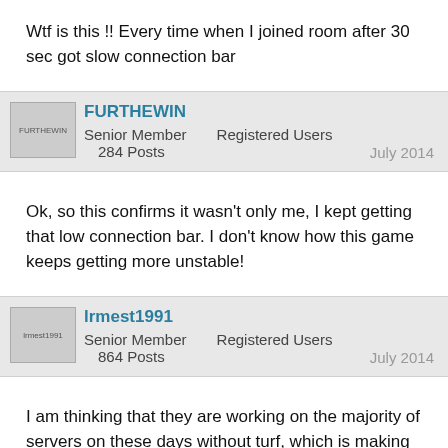Wtf is this !! Every time when I joined room after 30 sec got slow connection bar
FURTHEWIN
Senior Member   Registered Users
284 Posts   July 2014
Ok, so this confirms it wasn't only me, I kept getting that low connection bar. I don't know how this game keeps getting more unstable!
lrmest1991
Senior Member   Registered Users
864 Posts   July 2014
I am thinking that they are working on the majority of servers on these days without turf, which is making the